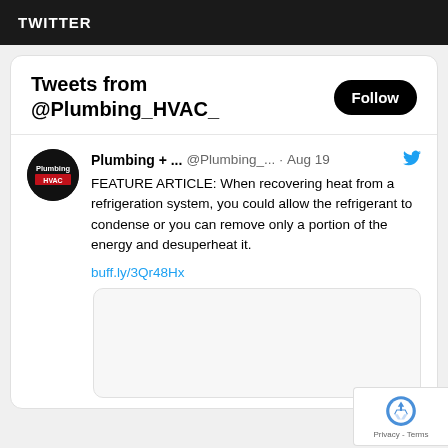TWITTER
Tweets from @Plumbing_HVAC_
Plumbing + ...  @Plumbing_...  · Aug 19
FEATURE ARTICLE: When recovering heat from a refrigeration system, you could allow the refrigerant to condense or you can remove only a portion of the energy and desuperheat it.
buff.ly/3Qr48Hx
[Figure (screenshot): Partial tweet image preview box, mostly blank/grey area]